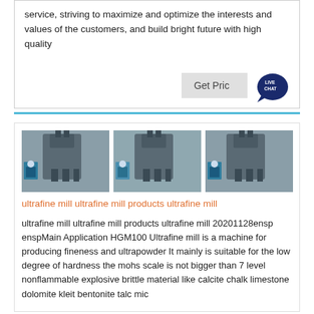service, striving to maximize and optimize the interests and values of the customers, and build bright future with high quality
[Figure (photo): Three photos of industrial ultrafine mill machines in a factory setting, each showing large grey machinery with workers nearby.]
ultrafine mill ultrafine mill products ultrafine mill
ultrafine mill ultrafine mill products ultrafine mill 20201128ensp enspMain Application HGM100 Ultrafine mill is a machine for producing fineness and ultrapowder It mainly is suitable for the low degree of hardness the mohs scale is not bigger than 7 level nonflammable explosive brittle material like calcite chalk limestone dolomite kleit bentonite talc mica